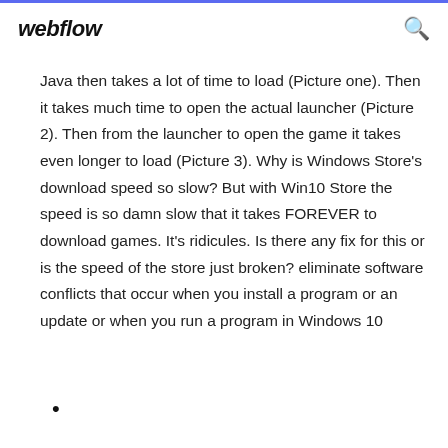webflow
Java then takes a lot of time to load (Picture one). Then it takes much time to open the actual launcher (Picture 2). Then from the launcher to open the game it takes even longer to load (Picture 3). Why is Windows Store's download speed so slow? But with Win10 Store the speed is so damn slow that it takes FOREVER to download games. It's ridicules. Is there any fix for this or is the speed of the store just broken? eliminate software conflicts that occur when you install a program or an update or when you run a program in Windows 10
•